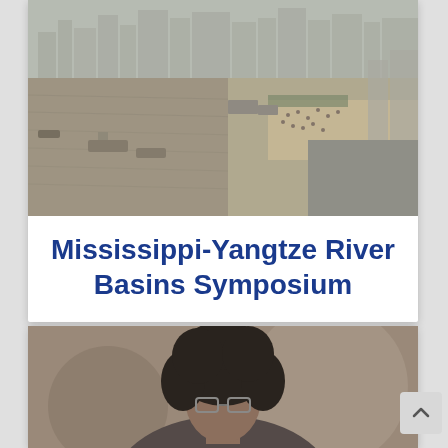[Figure (photo): Aerial view of Yangtze River waterfront with boats, a riverside promenade filled with pedestrians, and a city skyline in the hazy background.]
Mississippi-Yangtze River Basins Symposium
[Figure (photo): Close-up portrait of a young person with curly hair and glasses in a blurred indoor setting.]